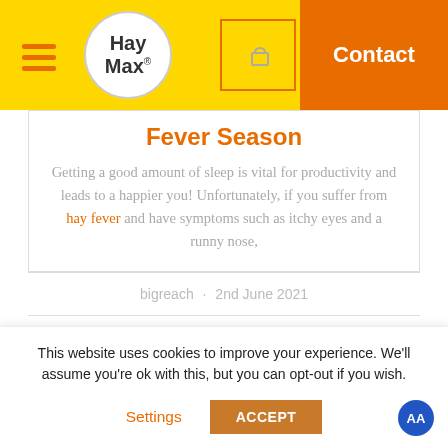[Figure (screenshot): HayMax website header with hamburger menu, circular logo, cart icon, and orange Contact button on yellow background]
Fever Season
Getting a good amount of sleep is vital for productivity and leads to a happier you! Unfortunately, if you suffer from hay fever and have symptoms such as itchy eyes and a runny nose,
bigreach · 2nd June 2021
This website uses cookies to improve your experience. We'll assume you're ok with this, but you can opt-out if you wish.
Settings   ACCEPT